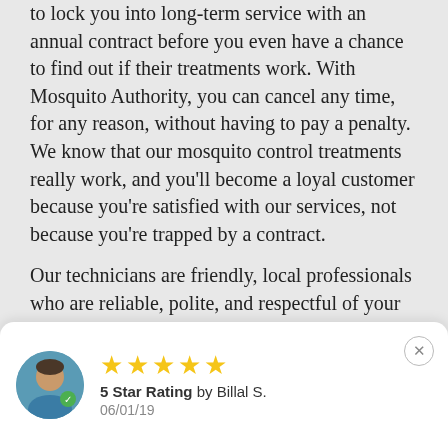to lock you into long-term service with an annual contract before you even have a chance to find out if their treatments work. With Mosquito Authority, you can cancel any time, for any reason, without having to pay a penalty. We know that our mosquito control treatments really work, and you'll become a loyal customer because you're satisfied with our services, not because you're trapped by a contract.
Our technicians are friendly, local professionals who are reliable, polite, and respectful of your home and property. We want the Mosquito Authority experience to be easy and stress-free. If you have any questions about our products or procedures, your technician will happily walk you through every step of the process.
[Figure (other): Review card with avatar, 5 gold stars, '5 Star Rating by Billal S.' text, date 06/01/19, and a close (X) button]